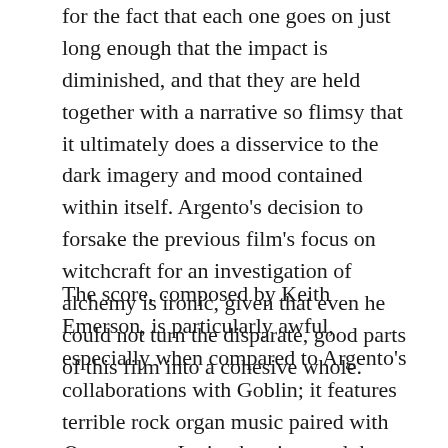for the fact that each one goes on just long enough that the impact is diminished, and that they are held together with a narrative so flimsy that it ultimately does a disservice to the dark imagery and mood contained within itself. Argento's decision to forsake the previous film's focus on witchcraft for an investigation of alchemy is ironic, given that even he could not turn the disparate, good parts of this film into a cohesive whole.
The score, composed by Keith Emerson, is particularly awful, especially when compared to Argento's collaborations with Goblin; it features terrible rock organ music paired with Omen-esque Latin chanting, and the result is far too silly to be effectively unsettling. The sets, some of which were designed by the great Mario Bava himself, are fantastic, however. As for other